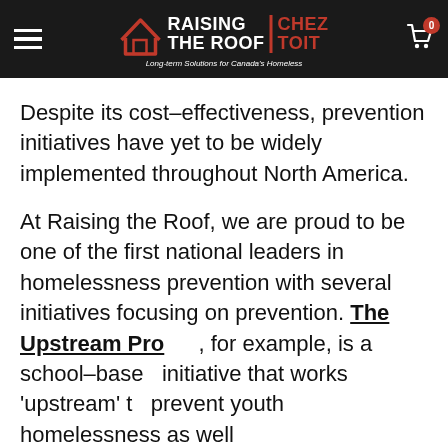RAISING THE ROOF | CHEZ TOIT — Long-term Solutions for Canada's Homeless
Despite its cost-effectiveness, prevention initiatives have yet to be widely implemented throughout North America.
At Raising the Roof, we are proud to be one of the first national leaders in homelessness prevention with several initiatives focusing on prevention. The Upstream Project, for example, is a school-based initiative that works 'upstream' to prevent youth homelessness as well